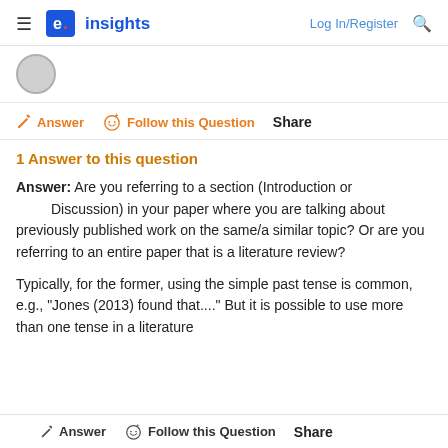e. insights | Log In/Register | Search
Answer | Follow this Question | Share
1 Answer to this question
Answer: Are you referring to a section (Introduction or Discussion) in your paper where you are talking about previously published work on the same/a similar topic? Or are you referring to an entire paper that is a literature review?
Typically, for the former, using the simple past tense is common, e.g., "Jones (2013) found that...." But it is possible to use more than one tense in a literature
Answer | Follow this Question | Share